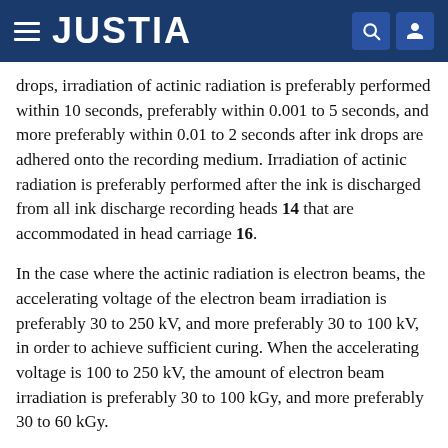JUSTIA
drops, irradiation of actinic radiation is preferably performed within 10 seconds, preferably within 0.001 to 5 seconds, and more preferably within 0.01 to 2 seconds after ink drops are adhered onto the recording medium. Irradiation of actinic radiation is preferably performed after the ink is discharged from all ink discharge recording heads 14 that are accommodated in head carriage 16.
In the case where the actinic radiation is electron beams, the accelerating voltage of the electron beam irradiation is preferably 30 to 250 kV, and more preferably 30 to 100 kV, in order to achieve sufficient curing. When the accelerating voltage is 100 to 250 kV, the amount of electron beam irradiation is preferably 30 to 100 kGy, and more preferably 30 to 60 kGy.